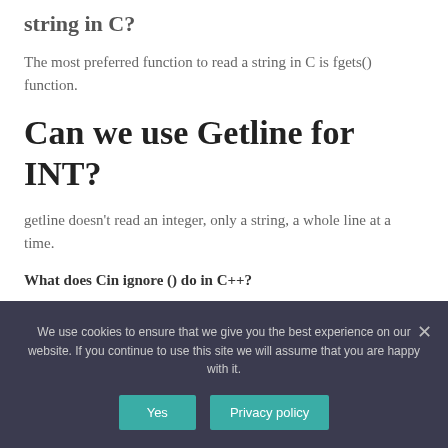string in C?
The most preferred function to read a string in C is fgets() function.
Can we use Getline for INT?
getline doesn’t read an integer, only a string, a whole line at a time.
What does Cin ignore () do in C++?
We use cookies to ensure that we give you the best experience on our website. If you continue to use this site we will assume that you are happy with it.